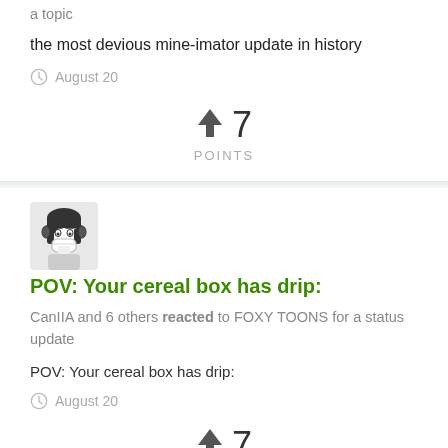a topic
the most devious mine-imator update in history
August 20
↑ 7 POINTS
[Figure (illustration): User avatar: anime-style character with dark hair, mask, wearing headphones, black and white illustration]
POV: Your cereal box has drip:
CanIIA and 6 others reacted to FOXY TOONS for a status update
POV: Your cereal box has drip:
August 20
↑ 7